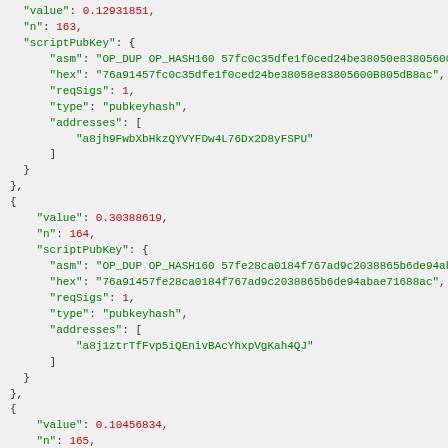JSON code block showing Bitcoin transaction output data with scriptPubKey fields including value, n, asm, hex, reqSigs, type, and addresses for entries 163, 164, and 165